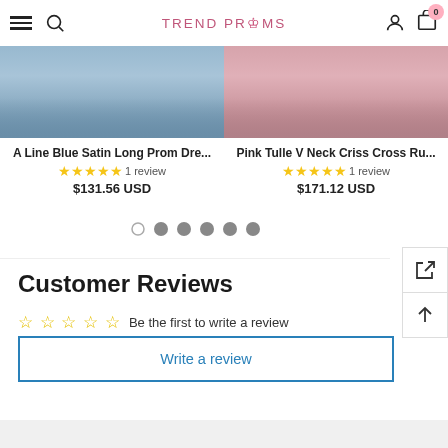TREND PROMS
[Figure (photo): Product photo of A Line Blue Satin Long Prom Dress, showing blue fabric]
A Line Blue Satin Long Prom Dre... ★★★★★ 1 review $131.56 USD
[Figure (photo): Product photo of Pink Tulle V Neck Criss Cross Ru..., showing pink tulle fabric]
Pink Tulle V Neck Criss Cross Ru... ★★★★★ 1 review $171.12 USD
[Figure (infographic): Carousel pagination dots: 1 empty circle, 5 filled grey dots]
Customer Reviews
Be the first to write a review
Write a review